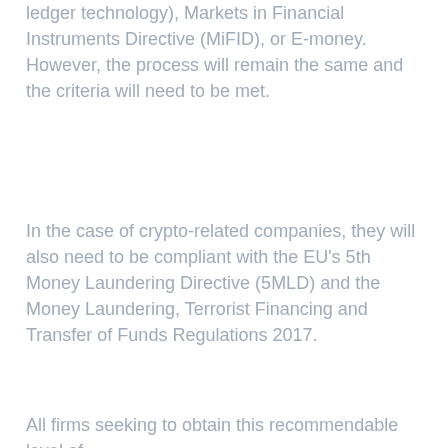ledger technology), Markets in Financial Instruments Directive (MiFID), or E-money. However, the process will remain the same and the criteria will need to be met.
In the case of crypto-related companies, they will also need to be compliant with the EU's 5th Money Laundering Directive (5MLD) and the Money Laundering, Terrorist Financing and Transfer of Funds Regulations 2017.
All firms seeking to obtain this recommendable level of